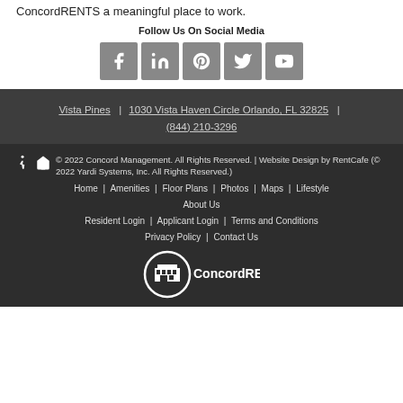ConcordRENTS a meaningful place to work.
Follow Us On Social Media
[Figure (illustration): Social media icons: Facebook, LinkedIn, Pinterest, Twitter, YouTube]
Vista Pines | 1030 Vista Haven Circle Orlando, FL 32825 | (844) 210-3296
© 2022 Concord Management. All Rights Reserved. | Website Design by RentCafe (© 2022 Yardi Systems, Inc. All Rights Reserved.)
Home | Amenities | Floor Plans | Photos | Maps | Lifestyle | About Us
Resident Login | Applicant Login | Terms and Conditions
Privacy Policy | Contact Us
[Figure (logo): ConcordRENTS logo with building icon in circular frame]